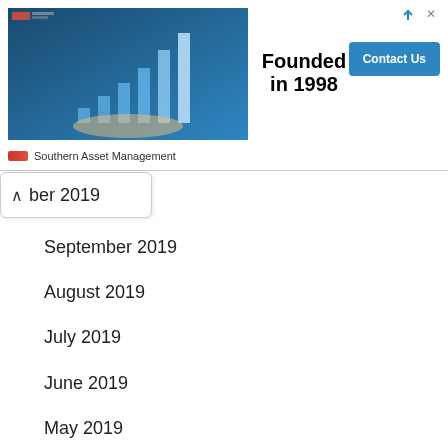[Figure (screenshot): Advertisement banner for Southern Asset Management showing a finance chart image on left, 'Founded in 1998' text in center, and a 'Contact Us' blue button on right. Southern Asset Management logo at bottom left of banner.]
ber 2019
September 2019
August 2019
July 2019
June 2019
May 2019
April 2019
March 2019
February 2019
January 2019